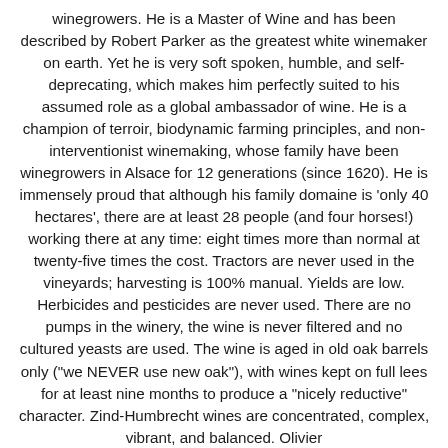winegrowers. He is a Master of Wine and has been described by Robert Parker as the greatest white winemaker on earth. Yet he is very soft spoken, humble, and self-deprecating, which makes him perfectly suited to his assumed role as a global ambassador of wine. He is a champion of terroir, biodynamic farming principles, and non-interventionist winemaking, whose family have been winegrowers in Alsace for 12 generations (since 1620). He is immensely proud that although his family domaine is 'only 40 hectares', there are at least 28 people (and four horses!) working there at any time: eight times more than normal at twenty-five times the cost. Tractors are never used in the vineyards; harvesting is 100% manual. Yields are low. Herbicides and pesticides are never used. There are no pumps in the winery, the wine is never filtered and no cultured yeasts are used. The wine is aged in old oak barrels only ("we NEVER use new oak"), with wines kept on full lees for at least nine months to produce a "nicely reductive" character. Zind-Humbrecht wines are concentrated, complex, vibrant, and balanced. Olivier